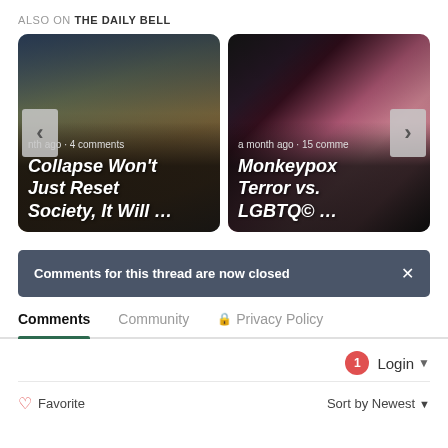ALSO ON THE DAILY BELL
[Figure (screenshot): Two article cards in a carousel. Left card: dark stormy sky background, meta text 'a month ago · 4 comments', title 'Collapse Won't Just Reset Society, It Will …'. Right card: woman with pink flowers background, meta text 'a month ago · 15 comments', title 'Monkeypox Terror vs. LGBTQ© …'. Left and right navigation arrows visible.]
Comments for this thread are now closed
Comments  Community  🔒 Privacy Policy
Login ▼
♡ Favorite
Sort by Newest ▼